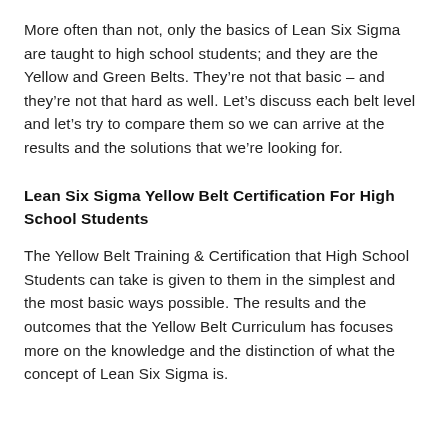More often than not, only the basics of Lean Six Sigma are taught to high school students; and they are the Yellow and Green Belts. They're not that basic – and they're not that hard as well. Let's discuss each belt level and let's try to compare them so we can arrive at the results and the solutions that we're looking for.
Lean Six Sigma Yellow Belt Certification For High School Students
The Yellow Belt Training & Certification that High School Students can take is given to them in the simplest and the most basic ways possible. The results and the outcomes that the Yellow Belt Curriculum has focuses more on the knowledge and the distinction of what the concept of Lean Six Sigma is.